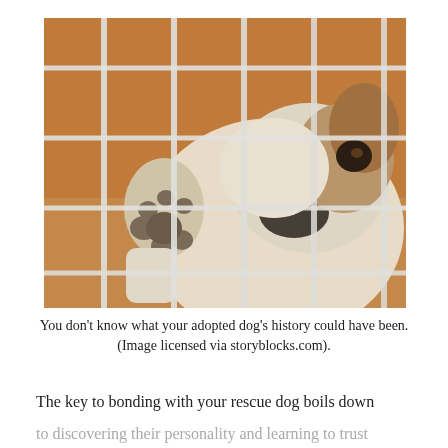[Figure (photo): A dog behind a white wire cage/kennel, pressing its paw against the bars and looking through with its face visible. Warm tan background. The image shows an adopted or rescue dog behind shelter bars.]
You don't know what your adopted dog's history could have been. (Image licensed via storyblocks.com).
The key to bonding with your rescue dog boils down to discovering their personality and learning to trust each other through patience, attention, and time.